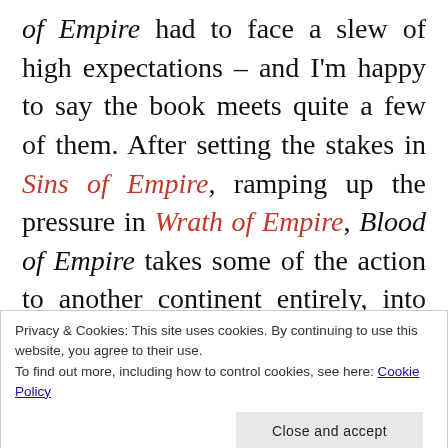of Empire had to face a slew of high expectations – and I'm happy to say the book meets quite a few of them. After setting the stakes in Sins of Empire, ramping up the pressure in Wrath of Empire, Blood of Empire takes some of the action to another continent entirely, into the heart of the Dynize, while at the same time providing a satisfying array of battles and revolutions in Fatrasta. In short, Blood of Empire offers a fast-paced, high-stakes
Privacy & Cookies: This site uses cookies. By continuing to use this website, you agree to their use.
To find out more, including how to control cookies, see here: Cookie Policy
The source of McClellan's success in the